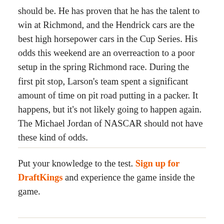should be. He has proven that he has the talent to win at Richmond, and the Hendrick cars are the best high horsepower cars in the Cup Series. His odds this weekend are an overreaction to a poor setup in the spring Richmond race. During the first pit stop, Larson's team spent a significant amount of time on pit road putting in a packer. It happens, but it's not likely going to happen again. The Michael Jordan of NASCAR should not have these kind of odds.
Put your knowledge to the test. Sign up for DraftKings and experience the game inside the game.